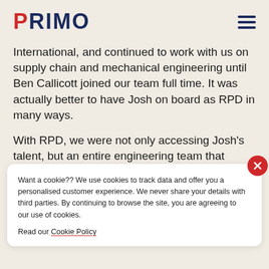PRIMO
International, and continued to work with us on supply chain and mechanical engineering until Ben Callicott joined our team full time. It was actually better to have Josh on board as RPD in many ways.
With RPD, we were not only accessing Josh's talent, but an entire engineering team that integrated perfectly within Primo. However good we had it
Want a cookie?? We use cookies to track data and offer you a personalised customer experience. We never share your details with third parties. By continuing to browse the site, you are agreeing to our use of cookies.
Read our Cookie Policy